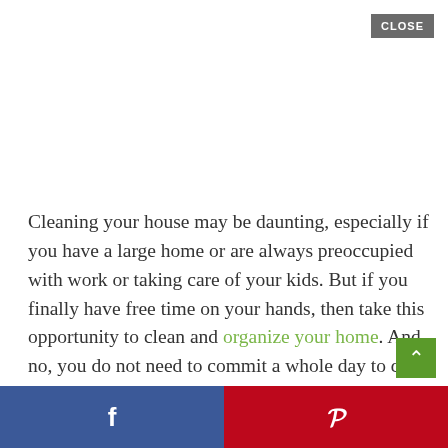CLOSE
Cleaning your house may be daunting, especially if you have a large home or are always preoccupied with work or taking care of your kids. But if you finally have free time on your hands, then take this opportunity to clean and organize your home. And no, you do not need to commit a whole day to do this because I have here 15 efficient cleaning hacks and tips you wish you'd know sooner!
f  P